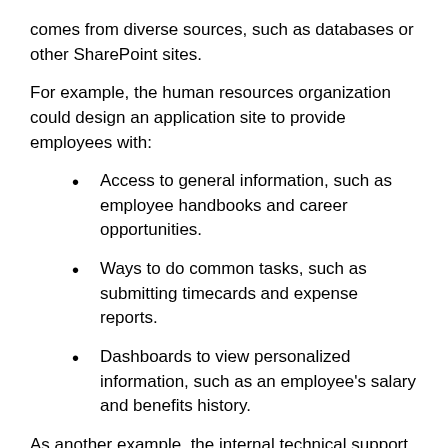comes from diverse sources, such as databases or other SharePoint sites.
For example, the human resources organization could design an application site to provide employees with:
Access to general information, such as employee handbooks and career opportunities.
Ways to do common tasks, such as submitting timecards and expense reports.
Dashboards to view personalized information, such as an employee's salary and benefits history.
As another example, the internal technical support group in an organization could design a Help Desk application site to provide technical support to members of the organization. Features of the application site could include the following: